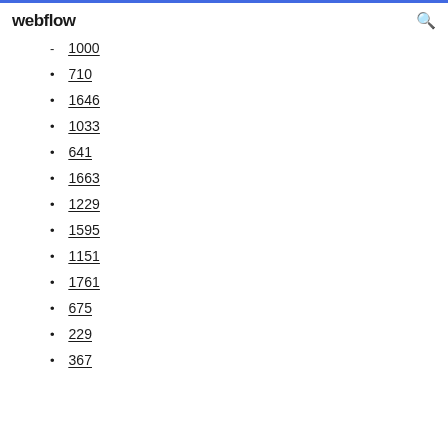webflow
1000
710
1646
1033
641
1663
1229
1595
1151
1761
675
229
367